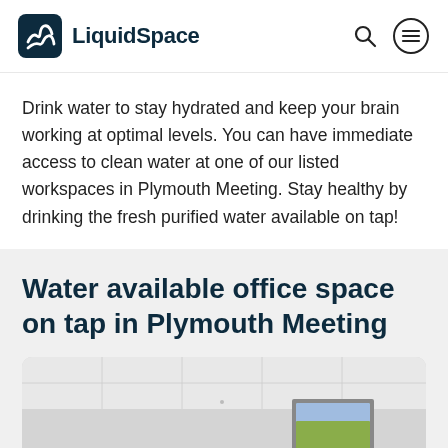LiquidSpace
Drink water to stay hydrated and keep your brain working at optimal levels. You can have immediate access to clean water at one of our listed workspaces in Plymouth Meeting. Stay healthy by drinking the fresh purified water available on tap!
Water available office space on tap in Plymouth Meeting
[Figure (photo): Interior photo of an office space with white walls, drop ceiling tiles, and a framed landscape painting on the wall.]